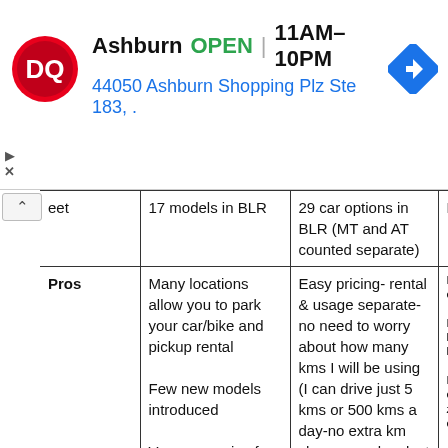[Figure (screenshot): Dairy Queen ad banner showing DQ logo, location 'Ashburn', status 'OPEN', hours '11AM-10PM', address '44050 Ashburn Shopping Plz Ste 183,.', and a blue navigation arrow icon]
|  | Column 2 | Column 3 |  |
| --- | --- | --- | --- |
| ...eet | 17 models in BLR | 29 car options in BLR (MT and AT counted separate) | B |
| Pros | Many locations allow you to park your car/bike and pickup rental

Few new models introduced

Very expensive for my long drives- say 1000 | Easy pricing- rental & usage separate- no need to worry about how many kms I will be using (I can drive just 5 kms or 500 kms a day-no extra km charges and no lost money on | P
c

B
li
k

L
c
z
c |